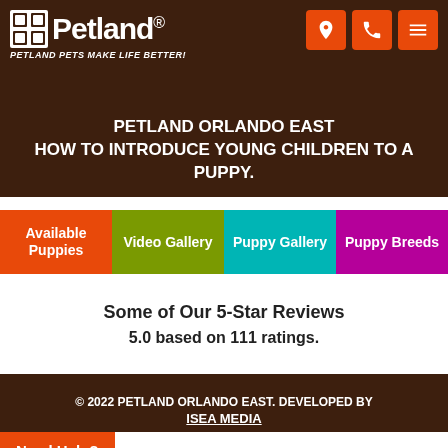Petland - Petland Pets Make Life Better!
PETLAND ORLANDO EAST HOW TO INTRODUCE YOUNG CHILDREN TO A PUPPY.
Available Puppies | Video Gallery | Puppy Gallery | Puppy Breeds
Some of Our 5-Star Reviews
5.0 based on 111 ratings.
© 2022 PETLAND ORLANDO EAST. DEVELOPED BY ISEA MEDIA
Need Help?